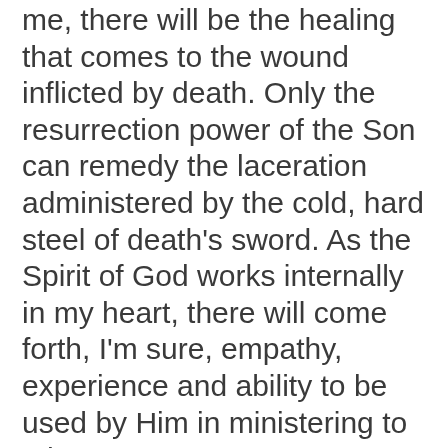me, there will be the healing that comes to the wound inflicted by death. Only the resurrection power of the Son can remedy the laceration administered by the cold, hard steel of death's sword. As the Spirit of God works internally in my heart, there will come forth, I'm sure, empathy, experience and ability to be used by Him in ministering to others.
The Father's purposes are not thwarted by death. There are others that need to be embraced by the Father of Heavenly lights with whom there is no variation nor shifting of shadow. (James 1:17)